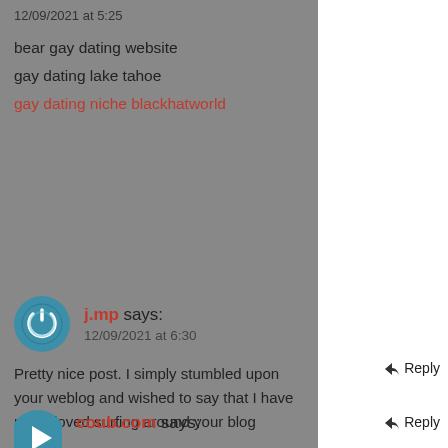12/09/2021 at 5:25
bear gay dating website
gay dating lake tahoe
gay dating niche blackhatworld
j.mp says:
12/09/2021 at 6:30
Pretty nice post. I simply stumbled upon your weblog and wished to say that I have really loved surfing around your blog
posts. After all I will be subscribing on your feed and I am hoping you write once more soon! cheap flights
http://1704milesapart.tumblr.com/ cheap flights
coub.com says:
↩ Reply
↩ Reply